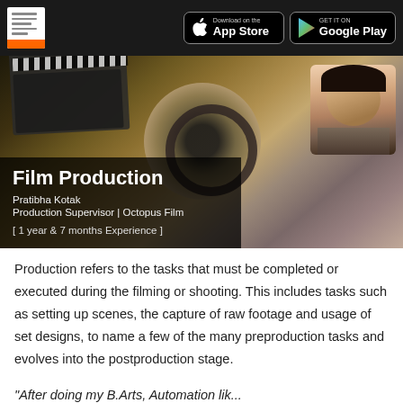Download on the App Store   GET IT ON Google Play
[Figure (photo): Film production hero image showing a clapperboard and film reels. Overlay text: Film Production, Pratibha Kotak, Production Supervisor | Octopus Film, [ 1 year & 7 months Experience ]]
Production refers to the tasks that must be completed or executed during the filming or shooting. This includes tasks such as setting up scenes, the capture of raw footage and usage of set designs, to name a few of the many preproduction tasks and evolves into the postproduction stage.
"After doing my B.Arts, Automation lik..." (partial, cut off)